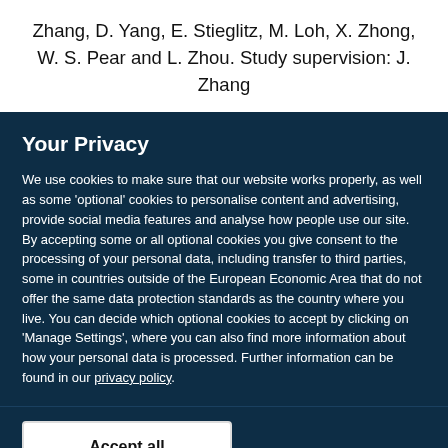Zhang, D. Yang, E. Stieglitz, M. Loh, X. Zhong, W. S. Pear and L. Zhou. Study supervision: J. Zhang
Your Privacy
We use cookies to make sure that our website works properly, as well as some ‘optional’ cookies to personalise content and advertising, provide social media features and analyse how people use our site. By accepting some or all optional cookies you give consent to the processing of your personal data, including transfer to third parties, some in countries outside of the European Economic Area that do not offer the same data protection standards as the country where you live. You can decide which optional cookies to accept by clicking on ‘Manage Settings’, where you can also find more information about how your personal data is processed. Further information can be found in our privacy policy.
Accept all cookies
Manage preferences